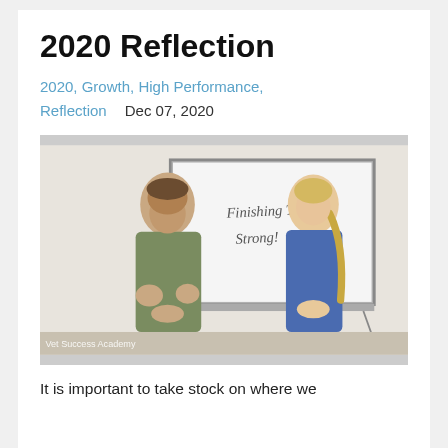2020 Reflection
2020, Growth, High Performance, Reflection    Dec 07, 2020
[Figure (photo): Two presenters standing in front of a whiteboard that reads 'Finishing The Year Strong!' with a watermark 'Vet Success Academy' in the lower left corner.]
It is important to take stock on where we